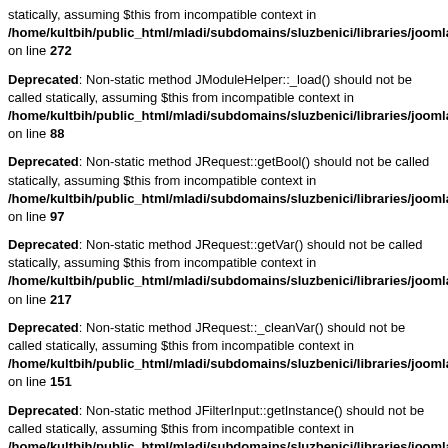statically, assuming $this from incompatible context in /home/kultbih/public_html/mladi/subdomains/sluzbenici/libraries/joomla/document/htm on line 272
Deprecated: Non-static method JModuleHelper::_load() should not be called statically, assuming $this from incompatible context in /home/kultbih/public_html/mladi/subdomains/sluzbenici/libraries/joomla/application/m on line 88
Deprecated: Non-static method JRequest::getBool() should not be called statically, assuming $this from incompatible context in /home/kultbih/public_html/mladi/subdomains/sluzbenici/libraries/joomla/application/m on line 97
Deprecated: Non-static method JRequest::getVar() should not be called statically, assuming $this from incompatible context in /home/kultbih/public_html/mladi/subdomains/sluzbenici/libraries/joomla/environment/r on line 217
Deprecated: Non-static method JRequest::_cleanVar() should not be called statically, assuming $this from incompatible context in /home/kultbih/public_html/mladi/subdomains/sluzbenici/libraries/joomla/environment/r on line 151
Deprecated: Non-static method JFilterInput::getInstance() should not be called statically, assuming $this from incompatible context in /home/kultbih/public_html/mladi/subdomains/sluzbenici/libraries/joomla/environment/r on line 577
Deprecated: Non-static method JModuleHelper::getModules() should not be called